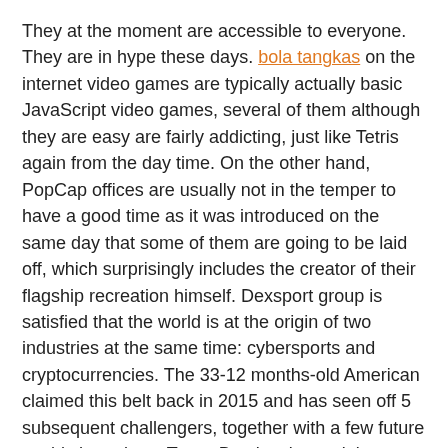They at the moment are accessible to everyone. They are in hype these days. bola tangkas on the internet video games are typically actually basic JavaScript video games, several of them although they are easy are fairly addicting, just like Tetris again from the day time. On the other hand, PopCap offices are usually not in the temper to have a good time as it was introduced on the same day that some of them are going to be laid off, which surprisingly includes the creator of their flagship recreation himself. Dexsport group is satisfied that the world is at the origin of two industries at the same time: cybersports and cryptocurrencies. The 33-12 months-old American claimed this belt back in 2015 and has seen off 5 subsequent challengers, together with a few future world champions. Tessa Brock writes opinions on various sporting events together with the web sportsbook. Our highly effective and intuitive platforms make for an astounding online betting expertise with sophisticated options that embrace Action Bets, over a hundred 000 Live in-play events and Cashout. Don't let negative notion put you off letting your son or daughter expertise free online games no obtain. Vibrant shows as well as animated graphics will stimulate your son or daughter. You'll have video games which will produce the talent of cognitive psychology, discovering conclusions and likewise sharing.
check, games, online